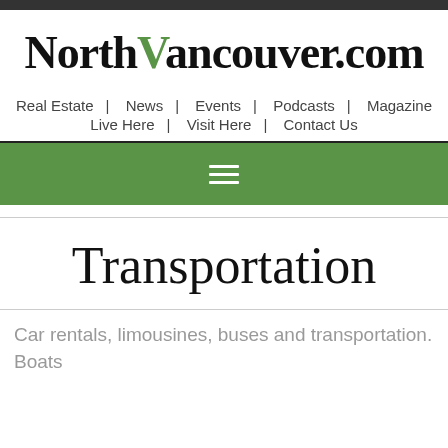NorthVancouver.com
Real Estate | News | Events | Podcasts | Magazine
Live Here | Visit Here | Contact Us
[Figure (other): Green navigation bar with hamburger menu icon (three horizontal white lines)]
Transportation
Car rentals, limousines, buses and transportation. Boats